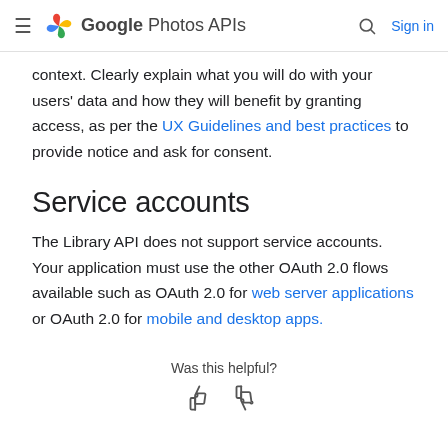Google Photos APIs  Sign in
context. Clearly explain what you will do with your users' data and how they will benefit by granting access, as per the UX Guidelines and best practices to provide notice and ask for consent.
Service accounts
The Library API does not support service accounts. Your application must use the other OAuth 2.0 flows available such as OAuth 2.0 for web server applications or OAuth 2.0 for mobile and desktop apps.
Was this helpful?